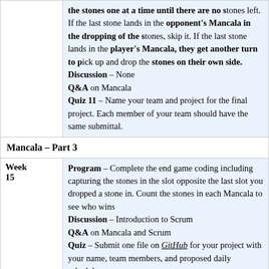the stones one at a time until there are no stones left. If the last stone lands in the opponent's Mancala in the dropping of the stones, skip it. If the last stone lands in the player's Mancala, they get another turn to pick up and drop the stones on their own side. Discussion – None Q&A on Mancala Quiz 11 – Name your team and project for the final project. Each member of your team should have the same submittal.
Mancala – Part 3
Week 15 Program – Complete the end game coding including capturing the stones in the slot opposite the last slot you dropped a stone in. Count the stones in each Mancala to see who wins. Discussion – Introduction to Scrum Q&A on Mancala and Scrum Quiz – Submit one file on GitHub for your project with your name, team members, and proposed daily schedule
Final Project